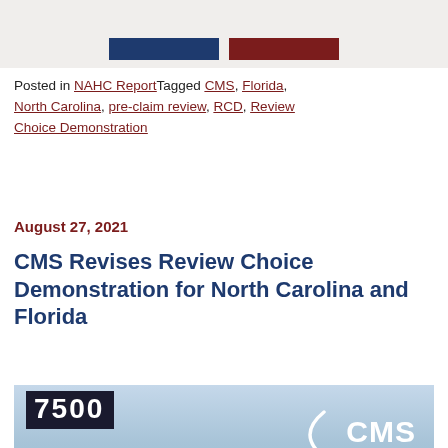[Figure (other): Partial top image showing two colored bars (blue and dark red) on a light beige background, cropped from above]
Posted in NAHC Report Tagged CMS, Florida, North Carolina, pre-claim review, RCD, Review Choice Demonstration
August 27, 2021
CMS Revises Review Choice Demonstration for North Carolina and Florida
[Figure (photo): Photograph of the CMS building exterior showing the number 7500, the HHS seal, and the CMS Centers for Medicare & Medicaid Services logo in white]